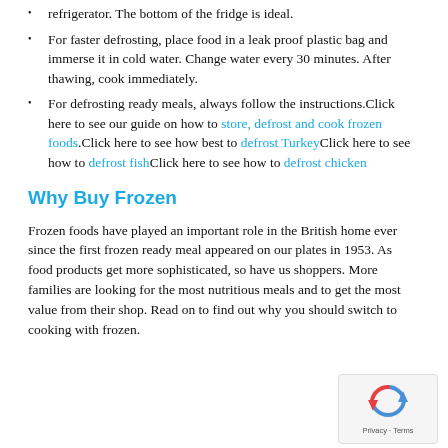... it is best to plan ahead for slow thawing in the refrigerator. The bottom of the fridge is ideal.
For faster defrosting, place food in a leak proof plastic bag and immerse it in cold water. Change water every 30 minutes. After thawing, cook immediately.
For defrosting ready meals, always follow the instructions.Click here to see our guide on how to store, defrost and cook frozen foods.Click here to see how best to defrost TurkeyClick here to see how to defrost fishClick here to see how to defrost chicken
Why Buy Frozen
Frozen foods have played an important role in the British home ever since the first frozen ready meal appeared on our plates in 1953. As food products get more sophisticated, so have us shoppers. More families are looking for the most nutritious meals and to get the most value from their shop. Read on to find out why you should switch to cooking with frozen.
[Figure (other): reCAPTCHA widget showing Privacy - Terms label]